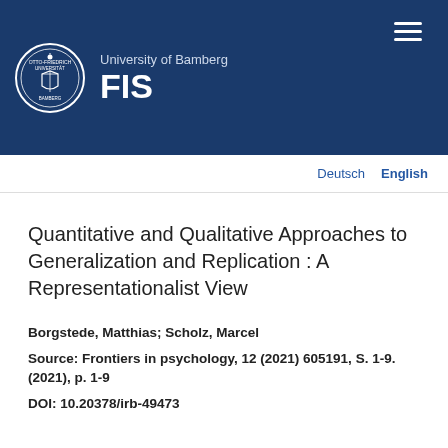[Figure (logo): University of Bamberg circular seal/crest logo in white on dark blue background]
University of Bamberg FIS
Deutsch  English
Quantitative and Qualitative Approaches to Generalization and Replication : A Representationalist View
Borgstede, Matthias; Scholz, Marcel
Source: Frontiers in psychology, 12 (2021) 605191, S. 1-9. (2021), p. 1-9
DOI: 10.20378/irb-49473